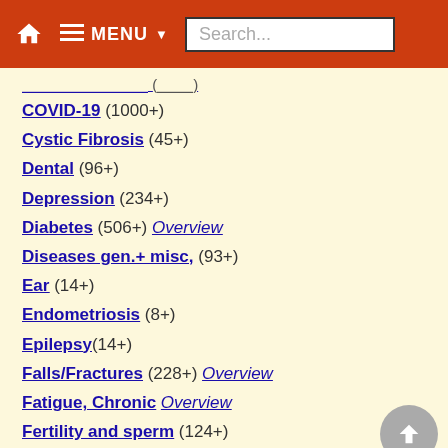MENU Search...
COVID-19 (1000+)
Cystic Fibrosis (45+)
Dental (96+)
Depression (234+)
Diabetes (506+) Overview
Diseases gen.+ misc, (93+)
Ear (14+)
Endometriosis (8+)
Epilepsy(14+)
Falls/Fractures (228+) Overview
Fatigue, Chronic Overview
Fertility and sperm (124+)